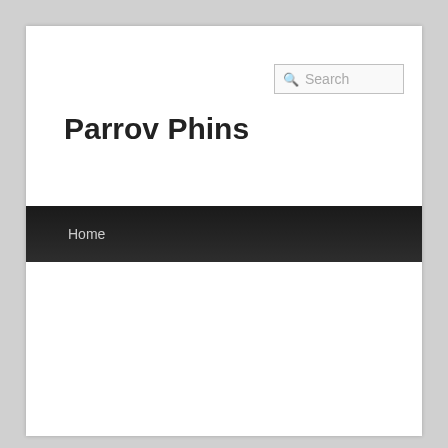Search
Parrov Phins
Home
← Previous   Next →
37 Casino Gambling Systems
Posted on December 7, 2021 by admin